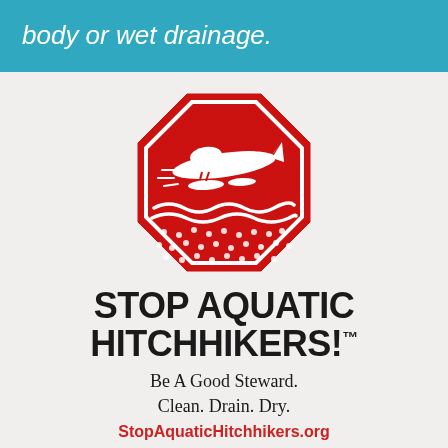body or wet drainage.
[Figure (logo): Stop Aquatic Hitchhikers octagon logo featuring a seaplane taking off from water with dots below representing aquatic organisms — red octagon with white outline and imagery]
STOP AQUATIC HITCHHIKERS!™
Be A Good Steward. Clean. Drain. Dry.
StopAquaticHitchhikers.org
PUBLIC AWARENESS